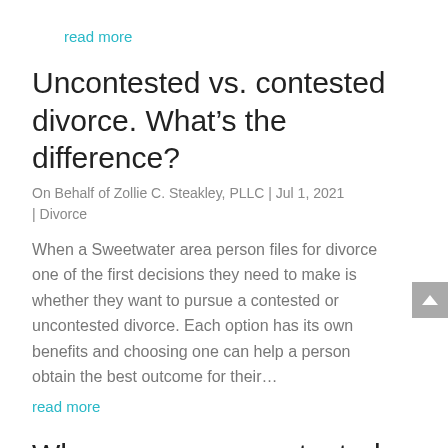read more
Uncontested vs. contested divorce. What’s the difference?
On Behalf of Zollie C. Steakley, PLLC | Jul 1, 2021 | Divorce
When a Sweetwater area person files for divorce one of the first decisions they need to make is whether they want to pursue a contested or uncontested divorce. Each option has its own benefits and choosing one can help a person obtain the best outcome for their…
read more
When can an uncontested